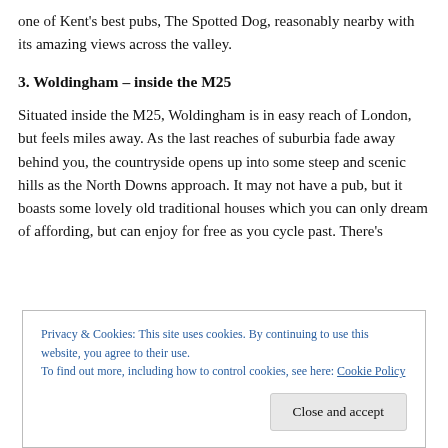one of Kent's best pubs, The Spotted Dog, reasonably nearby with its amazing views across the valley.
3. Woldingham – inside the M25
Situated inside the M25, Woldingham is in easy reach of London, but feels miles away. As the last reaches of suburbia fade away behind you, the countryside opens up into some steep and scenic hills as the North Downs approach. It may not have a pub, but it boasts some lovely old traditional houses which you can only dream of affording, but can enjoy for free as you cycle past. There's
Privacy & Cookies: This site uses cookies. By continuing to use this website, you agree to their use.
To find out more, including how to control cookies, see here: Cookie Policy